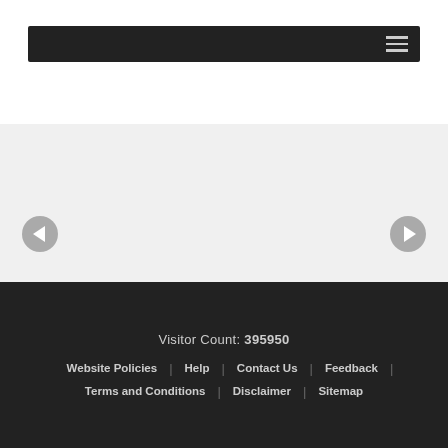[Figure (screenshot): Dark navigation bar with hamburger menu icon on the right]
[Figure (screenshot): Image slider/carousel area with left and right arrow navigation buttons and three dot indicators at the bottom on a light gray background]
Visitor Count: 395950
Website Policies | Help | Contact Us | Feedback | Terms and Conditions | Disclaimer | Sitemap